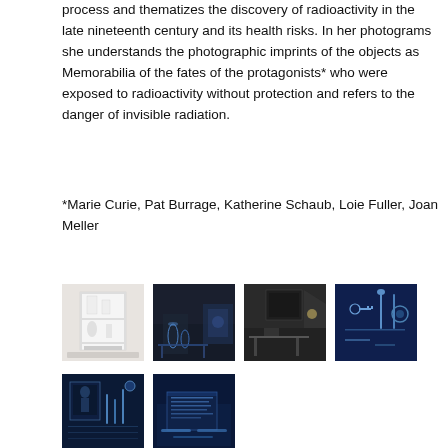process and thematizes the discovery of radioactivity in the late nineteenth century and its health risks. In her photograms she understands the photographic imprints of the objects as Memorabilia of the fates of the protagonists* who were exposed to radioactivity without protection and refers to the danger of invisible radiation.
*Marie Curie, Pat Burrage, Katherine Schaub, Loie Fuller, Joan Meller
[Figure (photo): White shelving unit or cabinet with objects, light-colored photograph]
[Figure (photo): Dark room with blue-tinted glassware and furniture]
[Figure (photo): Dark room with framed artwork or poster on wall, table in foreground]
[Figure (photo): Cyanotype-style blue photograph of objects including keys and utensils]
[Figure (photo): Cyanotype-style blue photograph with medical or scientific objects]
[Figure (photo): Cyanotype-style deep blue photograph of flat objects on surface]